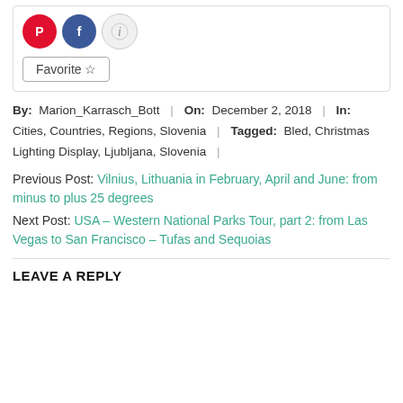[Figure (other): Social sharing icons: Pinterest (red circle), Facebook (blue circle), Info (grey circle), and a Favorite star button]
By: Marion_Karrasch_Bott | On: December 2, 2018 | In: Cities, Countries, Regions, Slovenia | Tagged: Bled, Christmas Lighting Display, Ljubljana, Slovenia |
Previous Post: Vilnius, Lithuania in February, April and June: from minus to plus 25 degrees
Next Post: USA – Western National Parks Tour, part 2: from Las Vegas to San Francisco – Tufas and Sequoias
LEAVE A REPLY